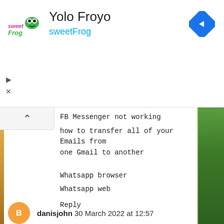[Figure (screenshot): sweetFrog logo — pink text on white background]
Yolo Froyo
sweetFrog
FB Messenger not working
how to transfer all of your Emails from one Gmail to another
Whatsapp browser
Whatsapp web
Reply
danisjohn 30 March 2022 at 12:57
Nice Information